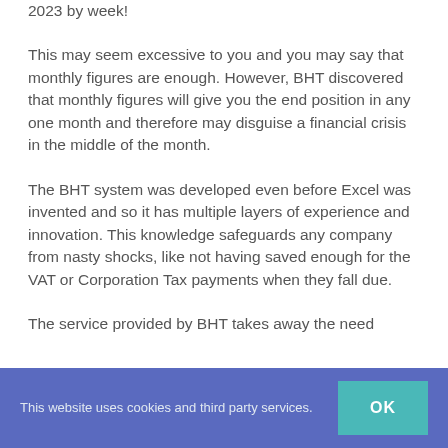2023 by week!
This may seem excessive to you and you may say that monthly figures are enough. However, BHT discovered that monthly figures will give you the end position in any one month and therefore may disguise a financial crisis in the middle of the month.
The BHT system was developed even before Excel was invented and so it has multiple layers of experience and innovation. This knowledge safeguards any company from nasty shocks, like not having saved enough for the VAT or Corporation Tax payments when they fall due.
The service provided by BHT takes away the need
This website uses cookies and third party services.